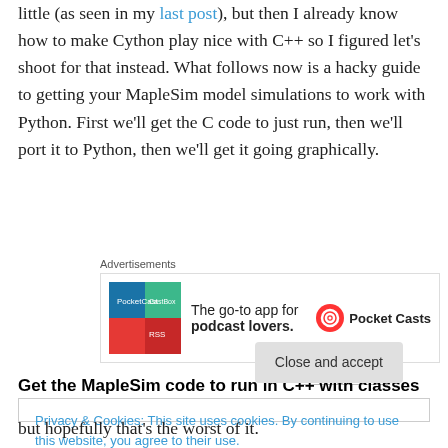little (as seen in my last post), but then I already know how to make Cython play nice with C++ so I figured let's shoot for that instead. What follows now is a hacky guide to getting your MapleSim model simulations to work with Python. First we'll get the C code to just run, then we'll port it to Python, then we'll get it going graphically.
[Figure (other): Advertisement banner for Pocket Casts: The go-to app for podcast lovers.]
Get the MapleSim code to run in C++ with classes and
Privacy & Cookies: This site uses cookies. By continuing to use this website, you agree to their use.
To find out more, including how to control cookies, see here: Cookie Policy
but hopefully that's the worst of it.